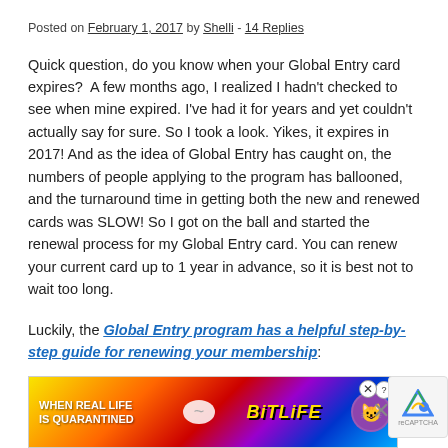Posted on February 1, 2017 by Shelli - 14 Replies
Quick question, do you know when your Global Entry card expires?  A few months ago, I realized I hadn't checked to see when mine expired. I've had it for years and yet couldn't actually say for sure. So I took a look. Yikes, it expires in 2017! And as the idea of Global Entry has caught on, the numbers of people applying to the program has ballooned, and the turnaround time in getting both the new and renewed cards was SLOW! So I got on the ball and started the renewal process for my Global Entry card. You can renew your current card up to 1 year in advance, so it is best not to wait too long.
Luckily, the Global Entry program has a helpful step-by-step guide for renewing your membership:
[Figure (other): Advertisement banner for BitLife game - colorful rainbow background with text 'WHEN REAL LIFE IS QUARANTINED' and BitLife logo]